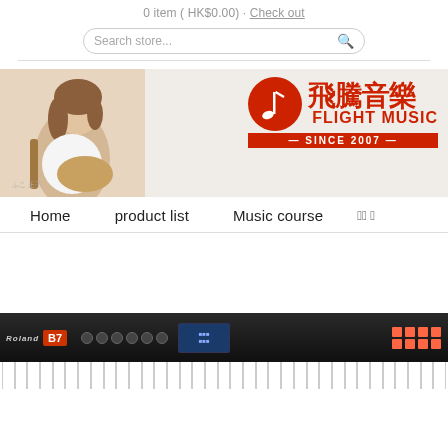0 item ( HK$0.00) · Check out
Search store...
[Figure (photo): Flight Music store banner with woman playing guitar and red logo with Chinese text 飛騰音樂 FLIGHT MUSIC SINCE 2007]
Home   product list   Music course   NN ▾
[Figure (photo): Roland keyboard workstation (B7 model) control panel and piano keys, dark background]